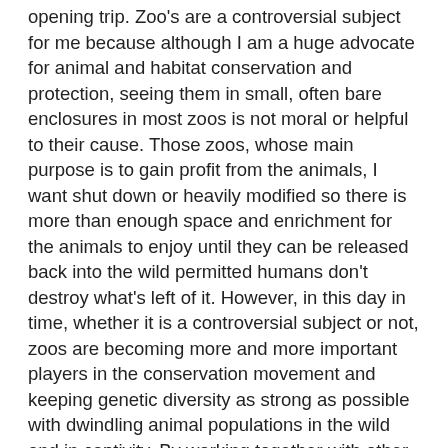opening trip. Zoo's are a controversial subject for me because although I am a huge advocate for animal and habitat conservation and protection, seeing them in small, often bare enclosures in most zoos is not moral or helpful to their cause. Those zoos, whose main purpose is to gain profit from the animals, I want shut down or heavily modified so there is more than enough space and enrichment for the animals to enjoy until they can be released back into the wild permitted humans don't destroy what's left of it. However, in this day in time, whether it is a controversial subject or not, zoos are becoming more and more important players in the conservation movement and keeping genetic diversity as strong as possible with dwindling animal populations in the wild and in captivity. By working together with other zoos around the world, they're able to sustain what genetic diversity is left and release animals back into the wild when they can, habitat permitted. Altogether, I have to say that Trevor Zoo's sense of place is clear in that their main purpose and mission is to protect and treat the animals well;